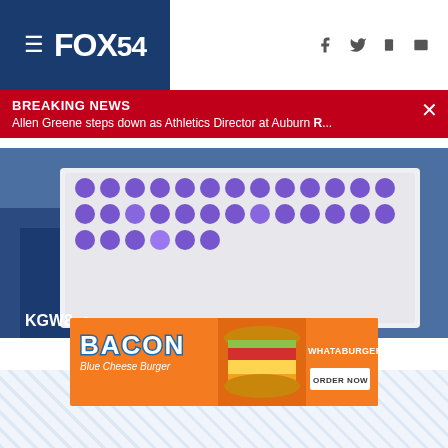[Figure (logo): FOX54 TV station header with hamburger menu icon on blue background, social media icons (Facebook, Twitter, mobile, email) on right]
BREAKING NEWS
Allen Greene steps down as Athletics Director at Auburn R...
[Figure (photo): Lab sample tray with purple-topped vials, KGW8 watermark, blue background]
[Figure (photo): Whataburger advertisement: Bacon Blue Cheese Burger with ORDER NOW button on orange background]